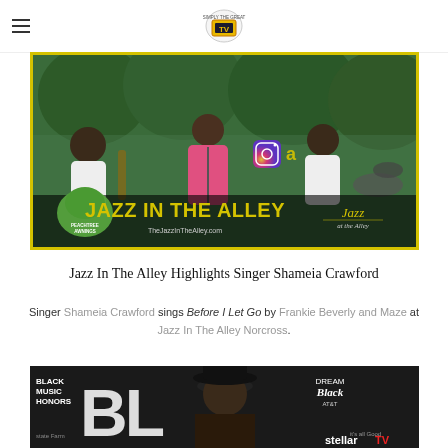TV [logo]
[Figure (photo): Outdoor jazz concert photo showing a female singer in pink dress performing on stage with musicians, with 'Jazz In The Alley' text overlay and Peachtree Awnings sponsor logo, TheJazzInTheAlley.com URL]
Jazz In The Alley Highlights Singer Shameia Crawford
Singer Shameia Crawford sings Before I Let Go by Frankie Beverly and Maze at Jazz In The Alley Norcross.
[Figure (photo): Man wearing black hat at Black Music Honors event, with sponsors Dream in Black (AT&T), Stellar TV, and State Farm visible in background]